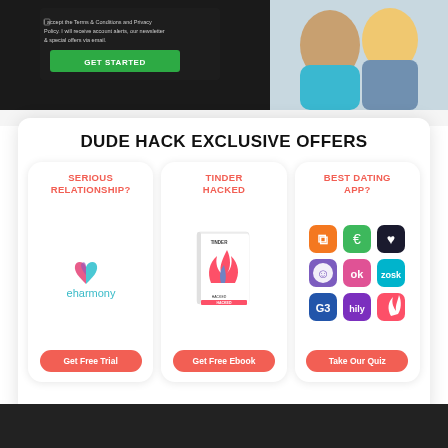[Figure (screenshot): Top portion of a dating website with a signup form and couple photo, including a green GET STARTED button]
DUDE HACK EXCLUSIVE OFFERS
[Figure (infographic): Three offer cards: 1) SERIOUS RELATIONSHIP? with eharmony logo and Get Free Trial button; 2) TINDER HACKED with Tinder book cover and Get Free Ebook button; 3) BEST DATING APP? with 9 dating app icons and Take Our Quiz button]